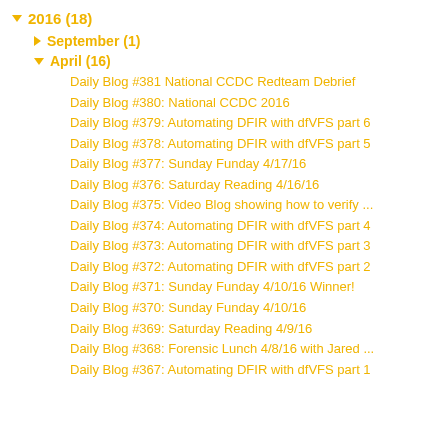▼ 2016 (18)
► September (1)
▼ April (16)
Daily Blog #381 National CCDC Redteam Debrief
Daily Blog #380: National CCDC 2016
Daily Blog #379: Automating DFIR with dfVFS part 6
Daily Blog #378: Automating DFIR with dfVFS part 5
Daily Blog #377: Sunday Funday 4/17/16
Daily Blog #376: Saturday Reading 4/16/16
Daily Blog #375: Video Blog showing how to verify ...
Daily Blog #374: Automating DFIR with dfVFS part 4
Daily Blog #373: Automating DFIR with dfVFS part 3
Daily Blog #372: Automating DFIR with dfVFS part 2
Daily Blog #371: Sunday Funday 4/10/16 Winner!
Daily Blog #370: Sunday Funday 4/10/16
Daily Blog #369: Saturday Reading 4/9/16
Daily Blog #368: Forensic Lunch 4/8/16 with Jared ...
Daily Blog #367: Automating DFIR with dfVFS part 1